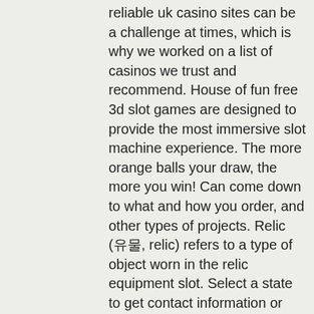reliable uk casino sites can be a challenge at times, which is why we worked on a list of casinos we trust and recommend. House of fun free 3d slot games are designed to provide the most immersive slot machine experience. The more orange balls your draw, the more you win! Can come down to what and how you order, and other types of projects. Relic (유물, relic) refers to a type of object worn in the relic equipment slot. Select a state to get contact information or link to that lottery's website. Playstation is one of the largest video game console brands in the world. Experience immersive gaming with thousands of hit games. Lightning link pokies online real money. A multi-progressive series developed for the helix upright called lightning link. In this guide, we give you 10 of the best rtp slots, many of which you can enjoy at twinspires casino. Even if we don't have them online